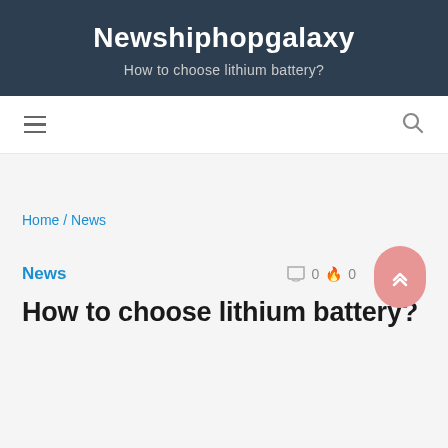Newshiphopgalaxy
How to choose lithium battery?
Home / News
News
How to choose lithium battery?